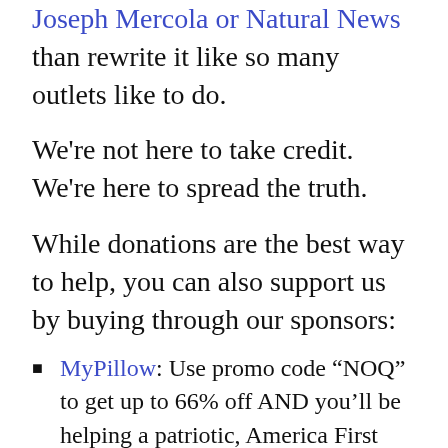Joseph Mercola or Natural News than rewrite it like so many outlets like to do.
We're not here to take credit. We're here to spread the truth.
While donations are the best way to help, you can also support us by buying through our sponsors:
MyPillow: Use promo code “NOQ” to get up to 66% off AND you’ll be helping a patriotic, America First company.
ZStack: Improve your immune system